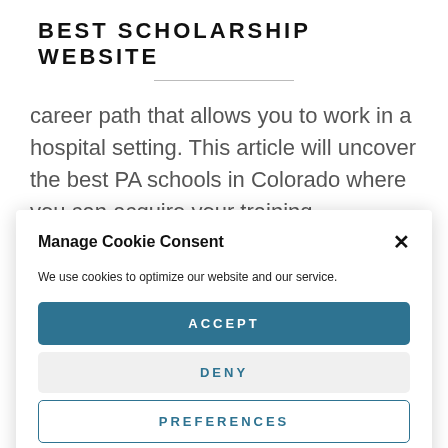BEST SCHOLARSHIP WEBSITE
career path that allows you to work in a hospital setting. This article will uncover the best PA schools in Colorado where you can acquire your training.
Manage Cookie Consent
We use cookies to optimize our website and our service.
ACCEPT
DENY
PREFERENCES
Privacy Policy